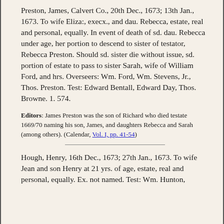Preston, James, Calvert Co., 20th Dec., 1673; 13th Jan., 1673. To wife Eliza:, execx., and dau. Rebecca, estate, real and personal, equally. In event of death of sd. dau. Rebecca under age, her portion to descend to sister of testator, Rebecca Preston. Should sd. sister die without issue, sd. portion of estate to pass to sister Sarah, wife of William Ford, and hrs. Overseers: Wm. Ford, Wm. Stevens, Jr., Thos. Preston. Test: Edward Bentall, Edward Day, Thos. Browne. 1. 574.
Editors: James Preston was the son of Richard who died testate 1669/70 naming his son, James, and daughters Rebecca and Sarah (among others). (Calendar, Vol. I, pp. 41-54)
Hough, Henry, 16th Dec., 1673; 27th Jan., 1673. To wife Jean and son Henry at 21 yrs. of age, estate, real and personal, equally. Ex. not named. Test: Wm. Hunton,